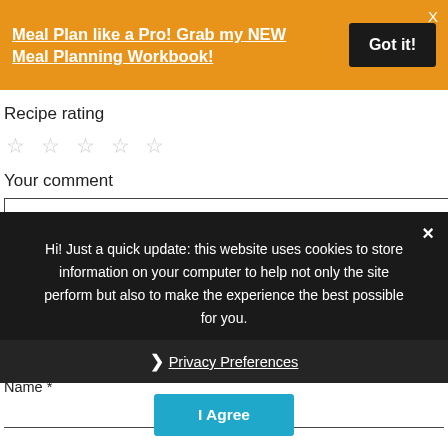Meal Plan like a Pro! Grab my NEW Meal Planning Workbook!
Got it!
Recipe rating
☆ ☆ ☆ ☆ ☆
Your comment
Hi! Just a quick update: this website uses cookies to store information on your computer to help not only the site perform but also to make the experience the best possible for you.
❯ Privacy Preferences
I Agree
Name *